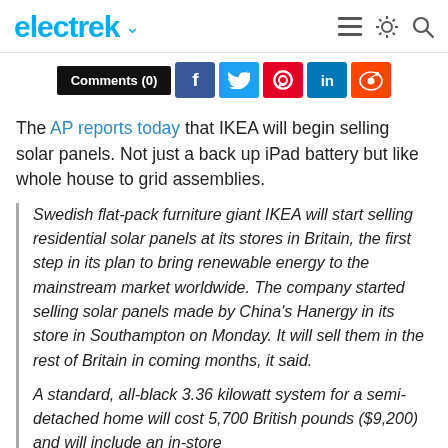electrek
[Figure (screenshot): Social sharing bar with Comments (0) button, Facebook, Twitter, Pinterest, LinkedIn, and Reddit buttons]
The AP reports today that IKEA will begin selling solar panels. Not just a back up iPad battery but like whole house to grid assemblies.
Swedish flat-pack furniture giant IKEA will start selling residential solar panels at its stores in Britain, the first step in its plan to bring renewable energy to the mainstream market worldwide. The company started selling solar panels made by China's Hanergy in its store in Southampton on Monday. It will sell them in the rest of Britain in coming months, it said.
A standard, all-black 3.36 kilowatt system for a semi-detached home will cost 5,700 British pounds ($9,200) and will include an in-store